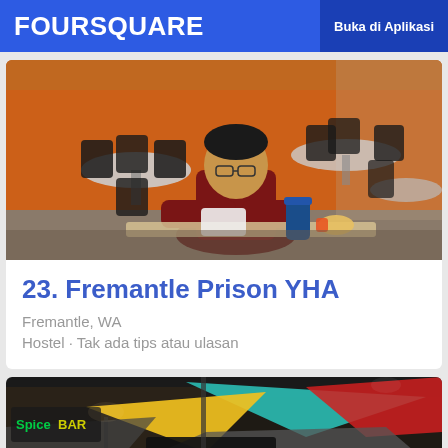FOURSQUARE  Buka di Aplikasi
[Figure (photo): Indoor cafeteria/dining room scene with orange walls, dark chairs and round tables, a person in a dark red shirt sitting at a table with a blue thermos and food items]
23. Fremantle Prison YHA
Fremantle, WA
Hostel · Tak ada tips atau ulasan
[Figure (photo): Outdoor area with colorful triangular shade sails (teal, yellow, red, grey) over what appears to be a bar/restaurant entrance, signage partially visible]